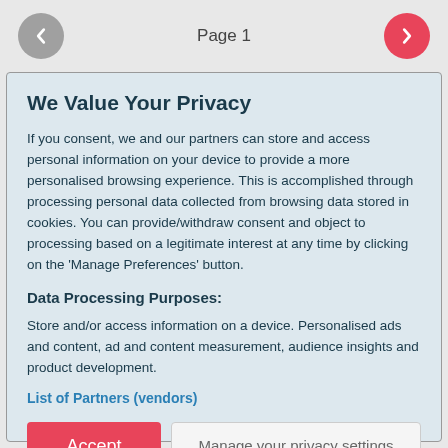Page 1
We Value Your Privacy
If you consent, we and our partners can store and access personal information on your device to provide a more personalised browsing experience. This is accomplished through processing personal data collected from browsing data stored in cookies. You can provide/withdraw consent and object to processing based on a legitimate interest at any time by clicking on the 'Manage Preferences' button.
Data Processing Purposes:
Store and/or access information on a device. Personalised ads and content, ad and content measurement, audience insights and product development.
List of Partners (vendors)